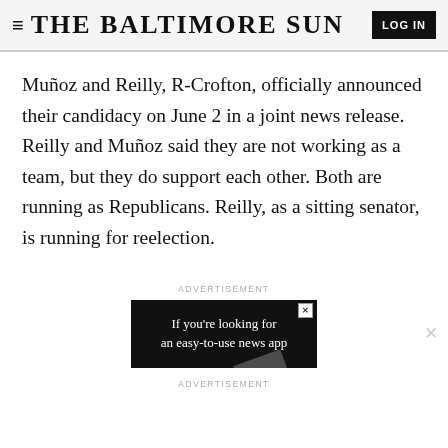THE BALTIMORE SUN
Muñoz and Reilly, R-Crofton, officially announced their candidacy on June 2 in a joint news release. Reilly and Muñoz said they are not working as a team, but they do support each other. Both are running as Republicans. Reilly, as a sitting senator, is running for reelection.
ADVERTISEMENT
[Figure (other): Advertisement banner: 'If you're looking for an easy-to-use news app' on black background]
ADVERTISEMENT